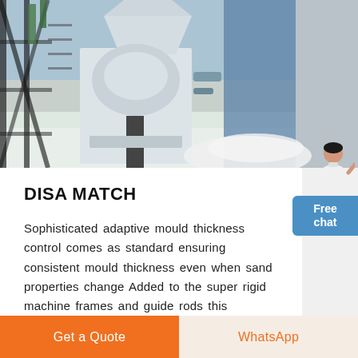[Figure (photo): Industrial moulding machine / sand casting equipment at an outdoor industrial facility. Large white conical machinery with scaffolding on the left and blue tarpaulin on the right.]
DISA MATCH
Sophisticated adaptive mould thickness control comes as standard ensuring consistent mould thickness even when sand properties change Added to the super rigid machine frames and guide rods this produces very high casting accuracy and repeatability Additional features include fixed cope for flexible mould changes and extra precise stripping.